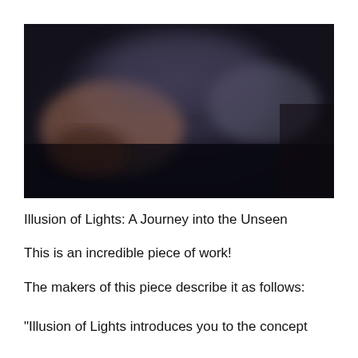[Figure (photo): A dark, blurry atmospheric photograph showing shadowy figures or hands with blurred light sources against a very dark background, with muted warm tones visible in the center-left area.]
Illusion of Lights: A Journey into the Unseen
This is an incredible piece of work!
The makers of this piece describe it as follows:
"Illusion of Lights introduces you to the concept